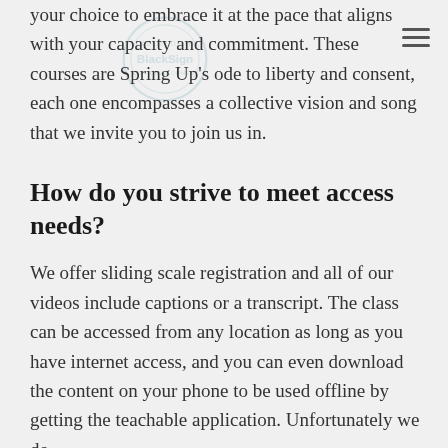your choice to embrace it at the pace that aligns with your capacity and commitment. These courses are Spring Up's ode to liberty and consent, each one encompasses a collective vision and song that we invite you to join us in.
How do you strive to meet access needs?
We offer sliding scale registration and all of our videos include captions or a transcript. The class can be accessed from any location as long as you have internet access, and you can even download the content on your phone to be used offline by getting the teachable application. Unfortunately we do